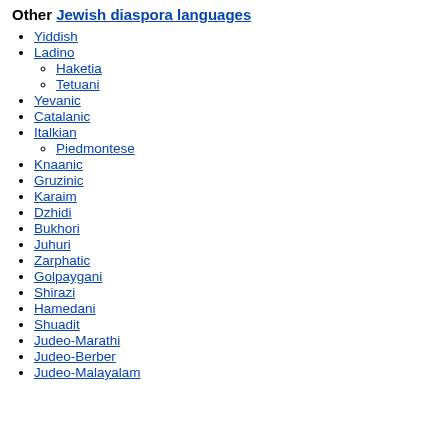Other Jewish diaspora languages
Yiddish
Ladino
Haketia
Tetuani
Yevanic
Catalanic
Italkian
Piedmontese
Knaanic
Gruzinic
Karaim
Dzhidi
Bukhori
Juhuri
Zarphatic
Golpaygani
Shirazi
Hamedani
Shuadit
Judeo-Marathi
Judeo-Berber
Judeo-Malayalam